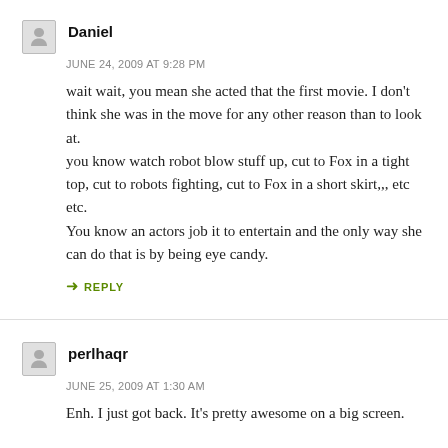Daniel
JUNE 24, 2009 AT 9:28 PM
wait wait, you mean she acted that the first movie. I don't think she was in the move for any other reason than to look at.
you know watch robot blow stuff up, cut to Fox in a tight top, cut to robots fighting, cut to Fox in a short skirt,,, etc etc.
You know an actors job it to entertain and the only way she can do that is by being eye candy.
REPLY
perlhaqr
JUNE 25, 2009 AT 1:30 AM
Enh. I just got back. It's pretty awesome on a big screen.